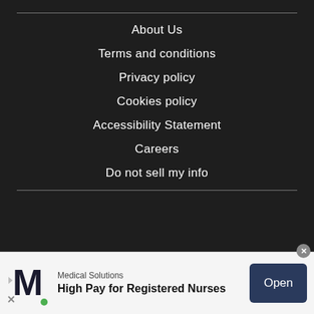About Us
Terms and conditions
Privacy policy
Cookies policy
Accessibility Statement
Careers
Do not sell my info
[Figure (infographic): Advertisement banner for Medical Solutions featuring an M logo, text 'High Pay for Registered Nurses', and an Open button]